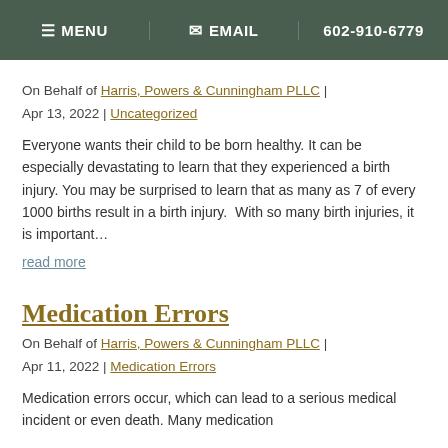MENU | EMAIL | 602-910-6779
On Behalf of Harris, Powers & Cunningham PLLC | Apr 13, 2022 | Uncategorized
Everyone wants their child to be born healthy. It can be especially devastating to learn that they experienced a birth injury. You may be surprised to learn that as many as 7 of every 1000 births result in a birth injury.  With so many birth injuries, it is important...
read more
Medication Errors
On Behalf of Harris, Powers & Cunningham PLLC | Apr 11, 2022 | Medication Errors
Medication errors occur, which can lead to a serious medical incident or even death. Many medication